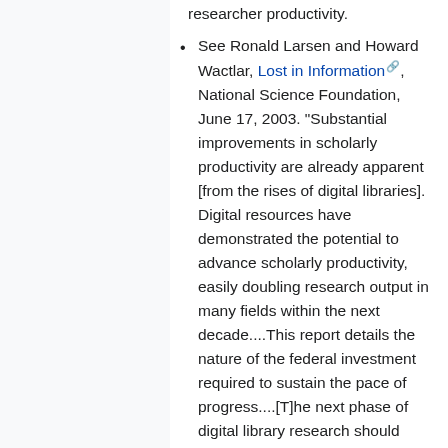researcher productivity.
See Ronald Larsen and Howard Wactlar, Lost in Information, National Science Foundation, June 17, 2003. "Substantial improvements in scholarly productivity are already apparent [from the rises of digital libraries]. Digital resources have demonstrated the potential to advance scholarly productivity, easily doubling research output in many fields within the next decade....This report details the nature of the federal investment required to sustain the pace of progress....[T]he next phase of digital library research should focus on...[i]mproving availability, accessibility and, thereby